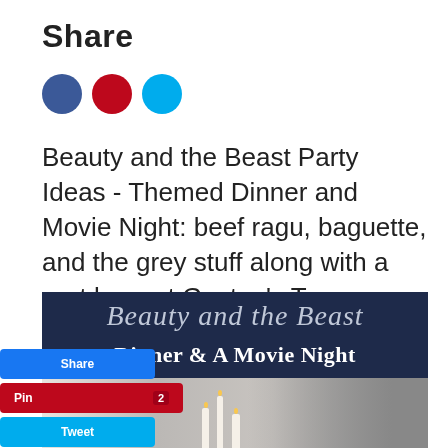Share
[Figure (illustration): Three social media share icon circles: blue (Facebook), red (Pinterest), cyan (Twitter)]
Beauty and the Beast Party Ideas - Themed Dinner and Movie Night: beef ragu, baguette, and the grey stuff along with a root beer at Gaston's Tavern.
[Figure (photo): Banner image with dark navy background showing cursive script 'Beauty and the Beast' and bold text 'Dinner & A Movie Night', below which is a photo of candles and grey fur/pillow]
[Figure (infographic): Social share buttons: Share (blue), Pin 2 (red), Tweet (cyan)]